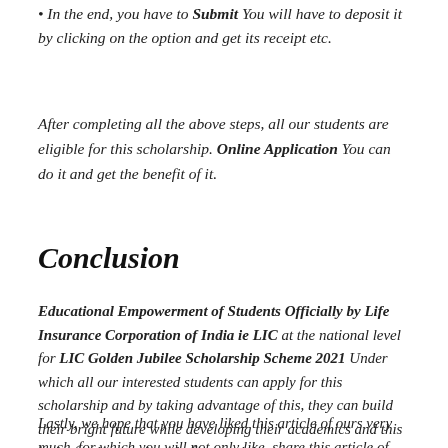In the end, you have to Submit You will have to deposit it by clicking on the option and get its receipt etc.
After completing all the above steps, all our students are eligible for this scholarship. Online Application You can do it and get the benefit of it.
Conclusion
Educational Empowerment of Students Officially by Life Insurance Corporation of India ie LIC at the national level for LIC Golden Jubilee Scholarship Scheme 2021 Under which all our interested students can apply for this scholarship and by taking advantage of this, they can build their bright future while developing their academics and this is the fundamental goal of our article.
Lastly, we hope that you have liked this article of ours very much, for which you will not only like, share this article of ours and also